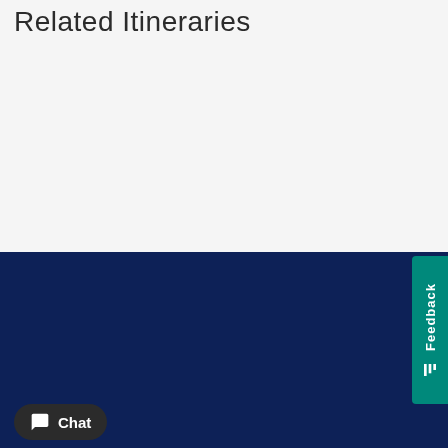Related Itineraries
Cookies are used on this website. By continuing to browse the site, you agree to the use of cookies. Read More
OKAY
Chat
Feedback